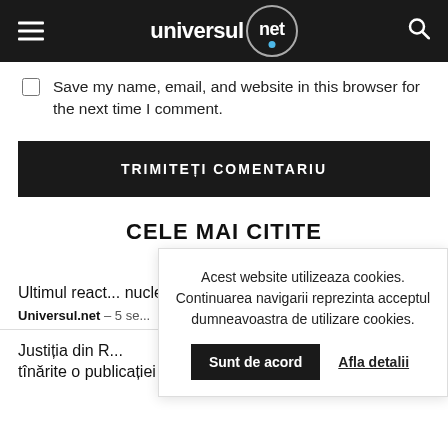universul.net
Save my name, email, and website in this browser for the next time I comment.
TRIMITEȚI COMENTARIU
CELE MAI CITITE
Acest website utilizeaza cookies. Continuarea navigarii reprezinta acceptul dumneavoastra de utilizare cookies. Sunt de acord  Afla detalii
Ultimul react... nucleare de la...
Universul.net – 5 se...
Justiția din R... tînărite o publicației Novaia Gazeta...